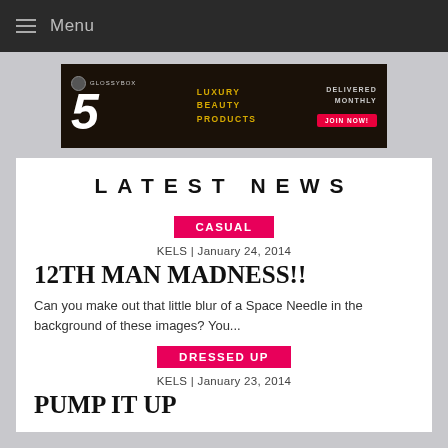Menu
[Figure (infographic): GlossyBox advertisement banner: 5 Luxury Beauty Products, Delivered Monthly, Join Now button]
LATEST NEWS
CASUAL | KELS | January 24, 2014 | 12TH MAN MADNESS!! | Can you make out that little blur of a Space Needle in the background of these images? You...
DRESSED UP | KELS | January 23, 2014 | PUMP IT UP